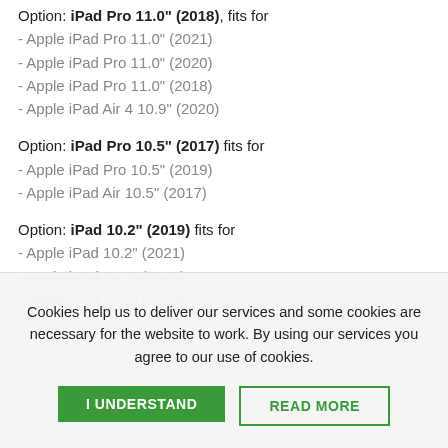Option: iPad Pro 11.0" (2018), fits for
- Apple iPad Pro 11.0" (2021)
- Apple iPad Pro 11.0" (2020)
- Apple iPad Pro 11.0" (2018)
- Apple iPad Air 4 10.9" (2020)
Option: iPad Pro 10.5" (2017) fits for
- Apple iPad Pro 10.5" (2019)
- Apple iPad Air 10.5" (2017)
Option: iPad 10.2" (2019) fits for
- Apple iPad 10.2" (2021)
- Apple iPad 10.2" (2020)
- Apple iPad 10.2" (2019)
Cookies help us to deliver our services and some cookies are necessary for the website to work. By using our services you agree to our use of cookies.
I UNDERSTAND
READ MORE